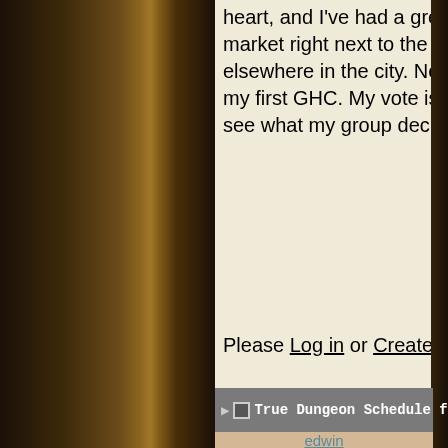heart, and I've had a great time there. I also just love Columbus, the market right next to the convention is fantastic, and there's a lot to love elsewhere in the city. Never been to Gencon, and a few weeks ago was my first GHC. My vote is going to be for GenCon for next year, but we'll see what my group decides.
Please Log in or Create an account to join the conversation.
True Dungeon Schedule for 2022 #12
edwin
Offline